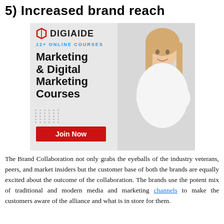5) Increased brand reach
[Figure (illustration): DigiAide advertisement banner showing a logo with a hexagon icon and text 'DIGIAIDE', subtitle '12+ ONLINE COURSES', main text 'Marketing & Digital Marketing Courses', a red 'Join Now' button, and a photo of a smiling woman with crossed arms on the right side of the banner against a light grey background.]
The Brand Collaboration not only grabs the eyeballs of the industry veterans, peers, and market insiders but the customer base of both the brands are equally excited about the outcome of the collaboration. The brands use the potent mix of traditional and modern media and marketing channels to make the customers aware of the alliance and what is in store for them.